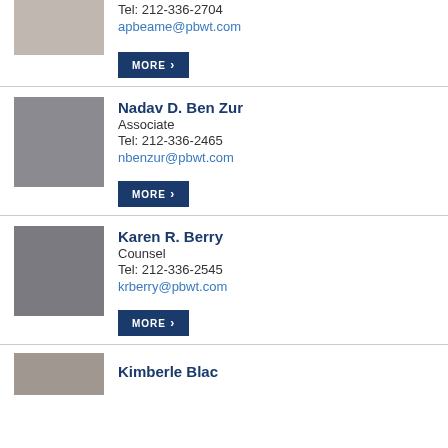[Figure (photo): Partial headshot of a man in a suit with red tie, cropped at top]
Tel: 212-336-2704
apbeame@pbwt.com
MORE
[Figure (photo): Headshot of Nadav D. Ben Zur, a man in a dark suit with tie]
Nadav D. Ben Zur
Associate
Tel: 212-336-2465
nbenzur@pbwt.com
MORE
[Figure (photo): Headshot of Karen R. Berry, a woman with glasses and short hair]
Karen R. Berry
Counsel
Tel: 212-336-2545
krberry@pbwt.com
MORE
[Figure (photo): Partial headshot at bottom, cropped]
Kimberle Blac...